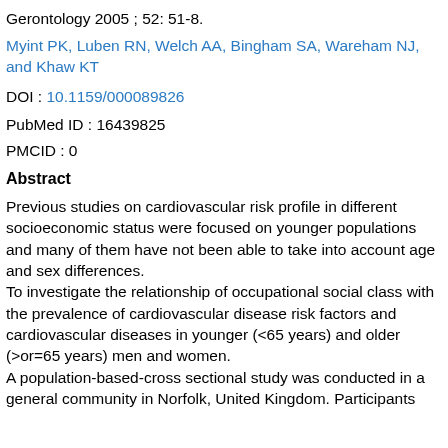Gerontology 2005 ; 52: 51-8.
Myint PK, Luben RN, Welch AA, Bingham SA, Wareham NJ, and Khaw KT
DOI : 10.1159/000089826
PubMed ID : 16439825
PMCID : 0
Abstract
Previous studies on cardiovascular risk profile in different socioeconomic status were focused on younger populations and many of them have not been able to take into account age and sex differences.
To investigate the relationship of occupational social class with the prevalence of cardiovascular disease risk factors and cardiovascular diseases in younger (<65 years) and older (>or=65 years) men and women.
A population-based-cross sectional study was conducted in a general community in Norfolk, United Kingdom. Participants